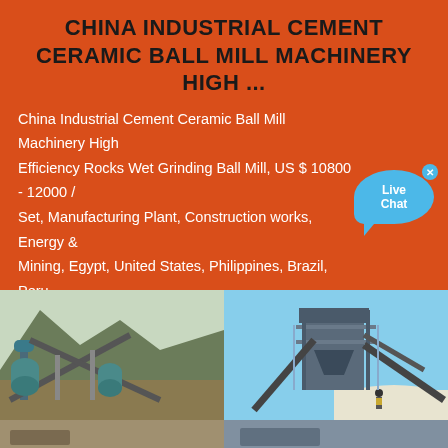CHINA INDUSTRIAL CEMENT CERAMIC BALL MILL MACHINERY HIGH ...
China Industrial Cement Ceramic Ball Mill Machinery High Efficiency Rocks Wet Grinding Ball Mill, US $ 10800 - 12000 / Set, Manufacturing Plant, Construction works, Energy & Mining, Egypt, United States, Philippines, Brazil, Peru, Pakistan, India, Mexico ...
[Figure (photo): Two industrial mining/crushing plant facility photos side by side. Left: industrial machinery with conveyor belts against a mountain backdrop. Right: large multi-level crushing/processing plant structure with conveyor belts and a worker visible near white aggregate material.]